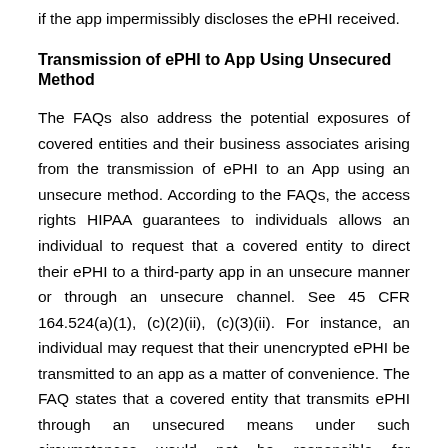if the app impermissibly discloses the ePHI received.
Transmission of ePHI to App Using Unsecured Method
The FAQs also address the potential exposures of covered entities and their business associates arising from the transmission of ePHI to an App using an unsecure method. According to the FAQs, the access rights HIPAA guarantees to individuals allows an individual to request that a covered entity to direct their ePHI to a third-party app in an unsecure manner or through an unsecure channel. See 45 CFR 164.524(a)(1), (c)(2)(ii), (c)(3)(ii). For instance, an individual may request that their unencrypted ePHI be transmitted to an app as a matter of convenience. The FAQ states that a covered entity that transmits ePHI through an unsecured means under such circumstances would not be responsible for unauthorized